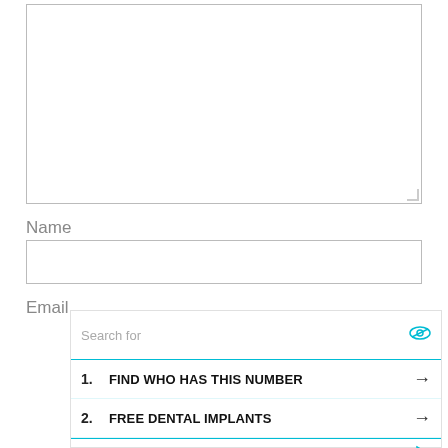[Figure (screenshot): Empty textarea input box with resize handle in bottom-right corner]
Name
[Figure (screenshot): Empty text input field for Name]
Email
[Figure (screenshot): Ad overlay with search bar showing 'Search for' with eye icon, two list items: 1. FIND WHO HAS THIS NUMBER, 2. FREE DENTAL IMPLANTS, and footer with Ad badge and Business Focus label]